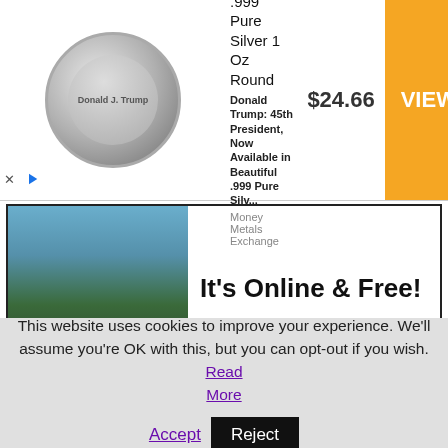[Figure (screenshot): Advertisement banner for President Trump .999 Pure Silver 1 Oz Round coin from Money Metals Exchange, priced at $24.66 with a VIEW button]
[Figure (screenshot): Content card with an outdoor scene image on left and bold text 'It's Online & Free!' on right]
[Figure (screenshot): Content card with Big Gay Picture Show logo on left and bold text 'An Apology From Big Gay Picture Show' on right]
This website uses cookies to improve your experience. We'll assume you're OK with this, but you can opt-out if you wish. Read More Accept Reject